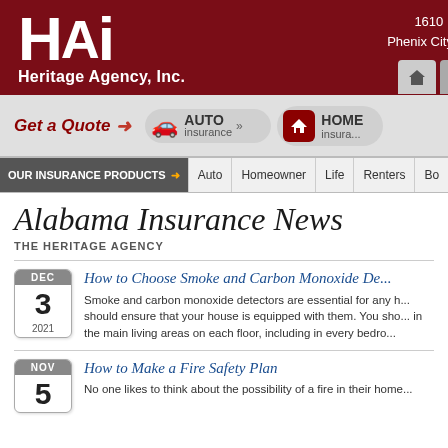[Figure (logo): HAi Heritage Agency, Inc. logo — white text on dark red background with house/business icon]
1610 Bro... Phenix City, A...
Get a Quote → AUTO insurance »» HOME insura...
OUR INSURANCE PRODUCTS → Auto | Homeowner | Life | Renters | Bo...
Alabama Insurance News
THE HERITAGE AGENCY
How to Choose Smoke and Carbon Monoxide De...
DEC 3 2021
Smoke and carbon monoxide detectors are essential for any h... should ensure that your house is equipped with them. You sho... in the main living areas on each floor, including in every bedro...
How to Make a Fire Safety Plan
NOV 5
No one likes to think about the possibility of a fire in their home...